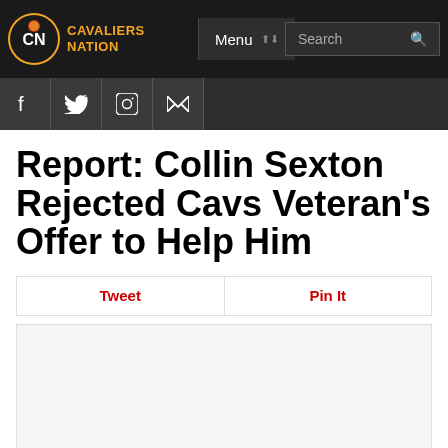Cavaliers Nation | Menu | Search
Report: Collin Sexton Rejected Cavs Veteran’s Offer to Help Him
Tweet | Pin It